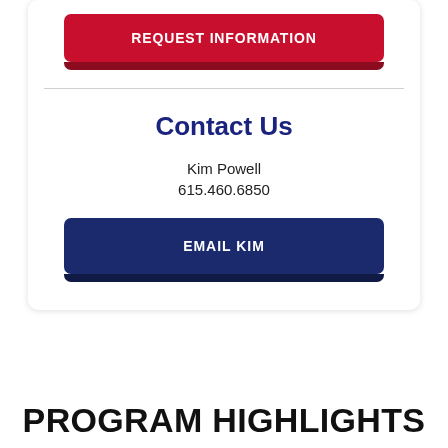[Figure (other): Red REQUEST INFORMATION button with darker red shadow/bottom edge]
Contact Us
Kim Powell
615.460.6850
[Figure (other): Dark navy blue EMAIL KIM button with darker navy shadow/bottom edge]
PROGRAM HIGHLIGHTS